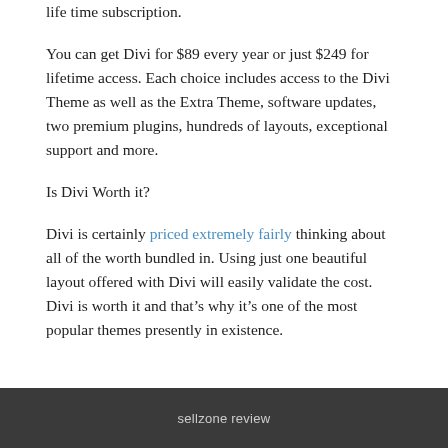life time subscription.
You can get Divi for $89 every year or just $249 for lifetime access. Each choice includes access to the Divi Theme as well as the Extra Theme, software updates, two premium plugins, hundreds of layouts, exceptional support and more.
Is Divi Worth it?
Divi is certainly priced extremely fairly thinking about all of the worth bundled in. Using just one beautiful layout offered with Divi will easily validate the cost. Divi is worth it and that’s why it’s one of the most popular themes presently in existence.
sellzone review